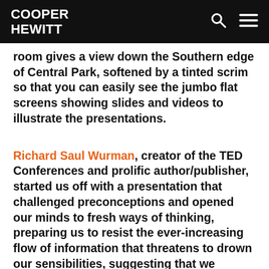COOPER HEWITT
room gives a view down the Southern edge of Central Park, softened by a tinted scrim so that you can easily see the jumbo flat screens showing slides and videos to illustrate the presentations.
Richard Saul Wurman, creator of the TED Conferences and prolific author/publisher, started us off with a presentation that challenged preconceptions and opened our minds to fresh ways of thinking, preparing us to resist the ever-increasing flow of information that threatens to drown our sensibilities, suggesting that we should respond to overload with the fresh faced innocence of ignorance. This led nicely into the discussion of data visualization, whereby design can make at least